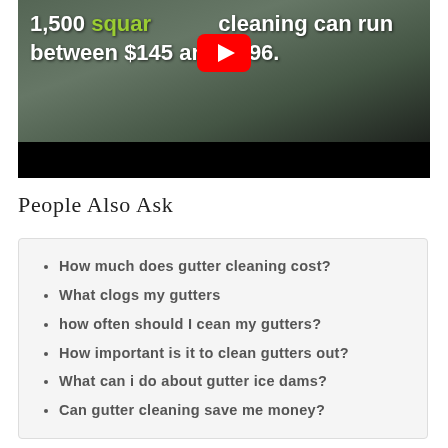[Figure (screenshot): Video thumbnail showing a house exterior with text overlay: '1,500 square [ft] cleaning can run between $145 and $196.' with a YouTube play button and black bar at bottom.]
People Also Ask
How much does gutter cleaning cost?
What clogs my gutters
how often should I cean my gutters?
How important is it to clean gutters out?
What can i do about gutter ice dams?
Can gutter cleaning save me money?